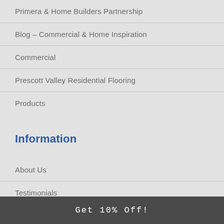Primera & Home Builders Partnership
Blog – Commercial & Home Inspiration
Commercial
Prescott Valley Residential Flooring
Products
Information
About Us
Testimonials
Get 10% Off!